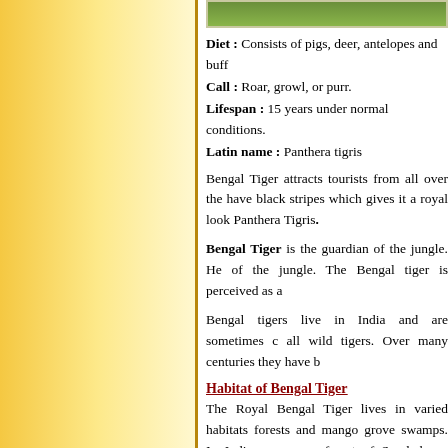[Figure (photo): Green vegetation/grass strip image at top of right panel]
Diet : Consists of pigs, deer, antelopes and buff...
Call : Roar, growl, or purr.
Lifespan : 15 years under normal conditions.
Latin name : Panthera tigris
Bengal Tiger attracts tourists from all over the... have black stripes which gives it a royal look... Panthera Tigris.
Bengal Tiger is the guardian of the jungle. He ... of the jungle. The Bengal tiger is perceived as a...
Bengal tigers live in India and are sometimes c... all wild tigers. Over many centuries they have b...
Habitat of Bengal Tiger
The Royal Bengal Tiger lives in varied habitats... forests and mango grove swamps. In India,... mangrove forest of Sunderbans. Sunderbans are... Sunderbans, the animal still enjoys reverence,... though about half of the tiger population has... Tigers hunt on their own and usually lead a so... territory. They are also found in other areas of... Nepal and Burma.
Bengal Tiger Population
The... about 50,000. Population...